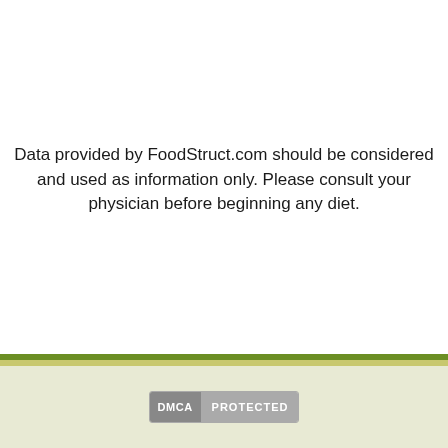Data provided by FoodStruct.com should be considered and used as information only. Please consult your physician before beginning any diet.
DMCA PROTECTED